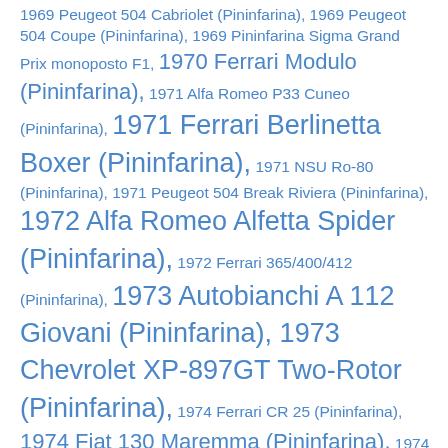1969 Peugeot 504 Cabriolet (Pininfarina), 1969 Peugeot 504 Coupe (Pininfarina), 1969 Pininfarina Sigma Grand Prix monoposto F1, 1970 Ferrari Modulo (Pininfarina), 1971 Alfa Romeo P33 Cuneo (Pininfarina), 1971 Ferrari Berlinetta Boxer (Pininfarina), 1971 NSU Ro-80 (Pininfarina), 1971 Peugeot 504 Break Riviera (Pininfarina), 1972 Alfa Romeo Alfetta Spider (Pininfarina), 1972 Ferrari 365/400/412 (Pininfarina), 1973 Autobianchi A 112 Giovani (Pininfarina), 1973 Chevrolet XP-897GT Two-Rotor (Pininfarina), 1974 Ferrari CR 25 (Pininfarina), 1974 Fiat 130 Maremma (Pininfarina), 1974 Lancia Beta Spider (Pininfarina), 1975 Alfa Romeo Eagle (Pininfarina), 1975 Fiat 130 Opera (Pininfarina), 1975 Lancia Beta Montecarlo (Pininfarina), 1975 Rolls-Royce Camargue (Pininfarina), 1976 Lancia Gamma Coupe (Pininfarina), 1976 Peugeot Peugette (Pininfarina), 1978 Fiat Ecos (Pininfarina), 1978 Jaguar